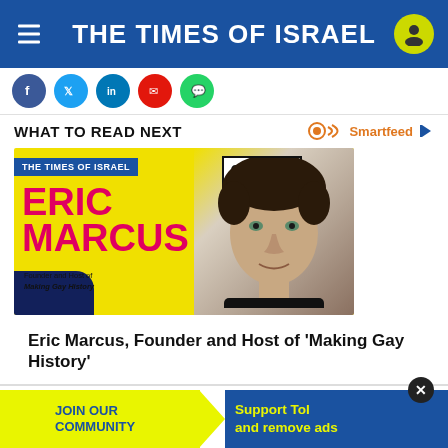THE TIMES OF ISRAEL
WHAT TO READ NEXT
[Figure (illustration): Times of Israel branded podcast promotional image for Eric Marcus, Founder and Host of Making Gay History. Yellow background with pink and navy accents, large pink text reading ERIC MARCUS, with a photo of Eric Marcus.]
Eric Marcus, Founder and Host of 'Making Gay History'
CO…
[Figure (infographic): Bottom banner ad: JOIN OUR COMMUNITY (yellow side) | Support ToI and remove ads (blue side) with arrow divider and close button]